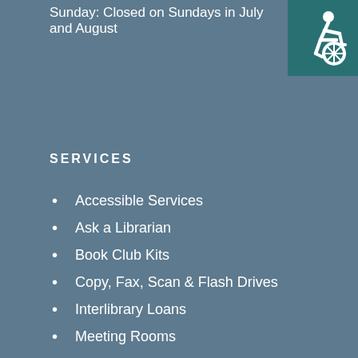Sunday: Closed on Sundays in July and August
[Figure (illustration): Wheelchair accessibility icon — white figure in wheelchair on teal/dark green background square]
SERVICES
Accessible Services
Ask a Librarian
Book Club Kits
Copy, Fax, Scan & Flash Drives
Interlibrary Loans
Meeting Rooms
Museum Passes
Notary Public
Quiet Study Rooms
Print from home